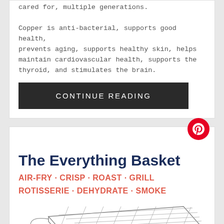cared for, multiple generations.
Copper is anti-bacterial, supports good health, prevents aging, supports healthy skin, helps maintain cardiovascular health, supports the thyroid, and stimulates the brain.
CONTINUE READING
The Everything Basket
AIR-FRY · CRISP · ROAST · GRILL ROTISSERIE · DEHYDRATE · SMOKE
[Figure (illustration): Line drawing of an air fryer basket/grill rack seen from a slight angle above]